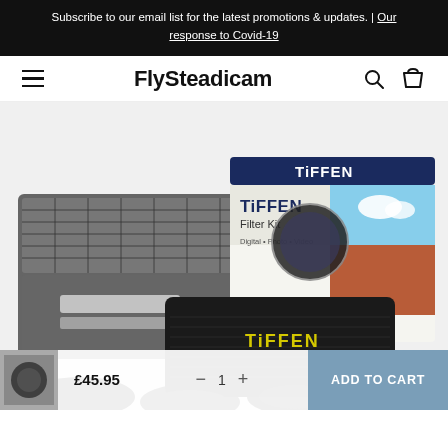Subscribe to our email list for the latest promotions & updates. | Our response to Covid-19
FlySteadicam
[Figure (photo): Tiffen Filter Kit product photo showing the retail box with images of camera filters and landscape scenes, a mesh filter wallet opened with filters visible, and a black Tiffen branded soft case in the foreground. Several circular ND filters are partially visible at the bottom.]
£45.95
ADD TO CART